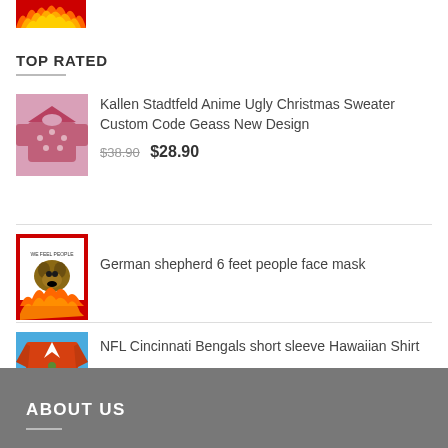[Figure (photo): Fire/flames image at top]
TOP RATED
[Figure (photo): Kallen Stadtfeld Anime Ugly Christmas Sweater product image]
Kallen Stadtfeld Anime Ugly Christmas Sweater Custom Code Geass New Design $38.90 $28.90
[Figure (photo): German shepherd 6 feet people face mask product image with red border and flames]
German shepherd 6 feet people face mask
[Figure (photo): NFL Cincinnati Bengals short sleeve Hawaiian Shirt product image]
NFL Cincinnati Bengals short sleeve Hawaiian Shirt
ABOUT US